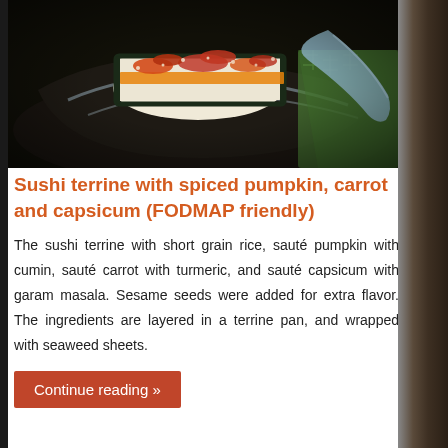[Figure (photo): Photo of sushi terrine with spiced pumpkin, carrot and capsicum on a dark plate with green cloth in background]
Sushi terrine with spiced pumpkin, carrot and capsicum (FODMAP friendly)
The sushi terrine with short grain rice, sauté pumpkin with cumin, sauté carrot with turmeric, and sauté capsicum with garam masala. Sesame seeds were added for extra flavor. The ingredients are layered in a terrine pan, and wrapped with seaweed sheets.
Continue reading »